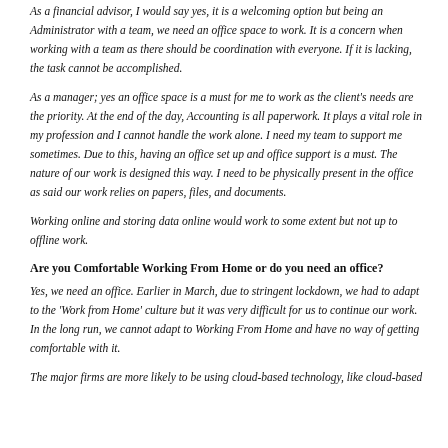As a financial advisor, I would say yes, it is a welcoming option but being an Administrator with a team, we need an office space to work. It is a concern when working with a team as there should be coordination with everyone. If it is lacking, the task cannot be accomplished.
As a manager; yes an office space is a must for me to work as the client's needs are the priority. At the end of the day, Accounting is all paperwork. It plays a vital role in my profession and I cannot handle the work alone. I need my team to support me sometimes. Due to this, having an office set up and office support is a must. The nature of our work is designed this way. I need to be physically present in the office as said our work relies on papers, files, and documents.
Working online and storing data online would work to some extent but not up to offline work.
Are you Comfortable Working From Home or do you need an office?
Yes, we need an office. Earlier in March, due to stringent lockdown, we had to adapt to the 'Work from Home' culture but it was very difficult for us to continue our work. In the long run, we cannot adapt to Working From Home and have no way of getting comfortable with it.
The major firms are more likely to be using cloud-based technology, like cloud-based